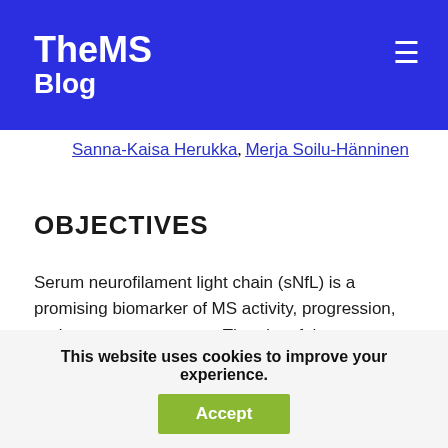TheMS Blog
Sanna-Kaisa Herukka, Merja Soilu-Hänninen
OBJECTIVES
Serum neurofilament light chain (sNfL) is a promising biomarker of MS activity, progression, and treatment response. The aim of the present study was to address whether sNfL concentrations are affected by supplementation of vitamin D and correlate
This website uses cookies to improve your experience.